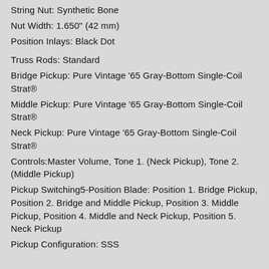String Nut: Synthetic Bone
Nut Width: 1.650" (42 mm)
Position Inlays: Black Dot
Truss Rods: Standard
Bridge Pickup: Pure Vintage '65 Gray-Bottom Single-Coil Strat®
Middle Pickup: Pure Vintage '65 Gray-Bottom Single-Coil Strat®
Neck Pickup: Pure Vintage '65 Gray-Bottom Single-Coil Strat®
Controls:Master Volume, Tone 1. (Neck Pickup), Tone 2. (Middle Pickup)
Pickup Switching5-Position Blade: Position 1. Bridge Pickup, Position 2. Bridge and Middle Pickup, Position 3. Middle Pickup, Position 4. Middle and Neck Pickup, Position 5. Neck Pickup
Pickup Configuration: SSS